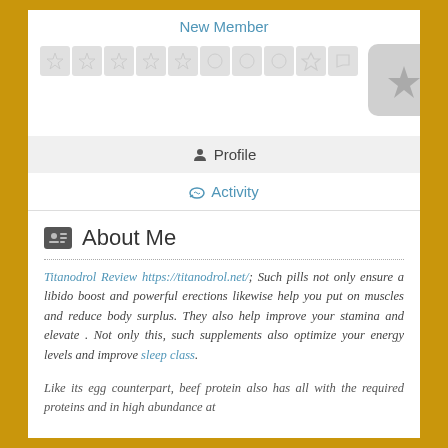New Member
[Figure (illustration): Row of badge/achievement icons followed by an avatar placeholder with a lightning bolt icon]
Profile
Activity
About Me
Titanodrol Review https://titanodrol.net/; Such pills not only ensure a libido boost and powerful erections likewise help you put on muscles and reduce body surplus. They also help improve your stamina and elevate . Not only this, such supplements also optimize your energy levels and improve sleep class.
Like its egg counterpart, beef protein also has all with the required proteins and in high abundance at